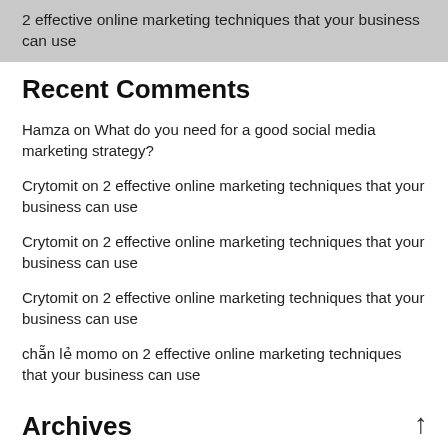2 effective online marketing techniques that your business can use
Recent Comments
Hamza on What do you need for a good social media marketing strategy?
Crytomit on 2 effective online marketing techniques that your business can use
Crytomit on 2 effective online marketing techniques that your business can use
Crytomit on 2 effective online marketing techniques that your business can use
chẵn lẻ momo on 2 effective online marketing techniques that your business can use
Archives